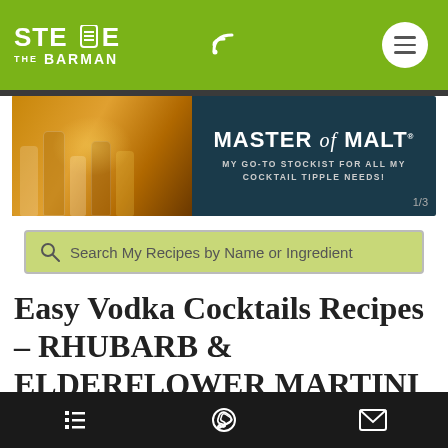STEVE THE BARMAN
[Figure (infographic): Master of Malt banner advertisement with bottles on amber background and dark teal panel reading MASTER of MALT - MY GO-TO STOCKIST FOR ALL MY COCKTAIL TIPPLE NEEDS! 1/3]
Search My Recipes by Name or Ingredient
Easy Vodka Cocktails Recipes - RHUBARB & ELDERFLOWER MARTINI
In this Easy Vodka Cocktails Recipes video, I've
[table of contents icon] [whatsapp icon] [email icon]